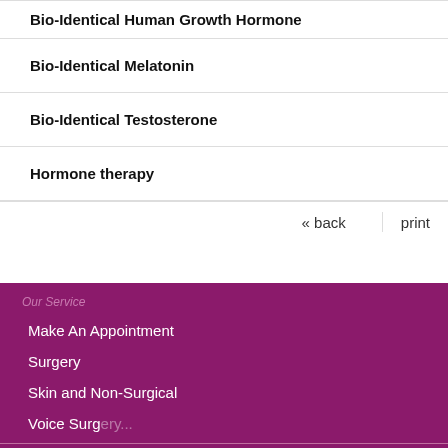Bio-Identical Human Growth Hormone
Bio-Identical Melatonin
Bio-Identical Testosterone
Hormone therapy
« back   print
Our Service
Make An Appointment
Surgery
Skin and Non-Surgical
Voice Surg...
Contact Us